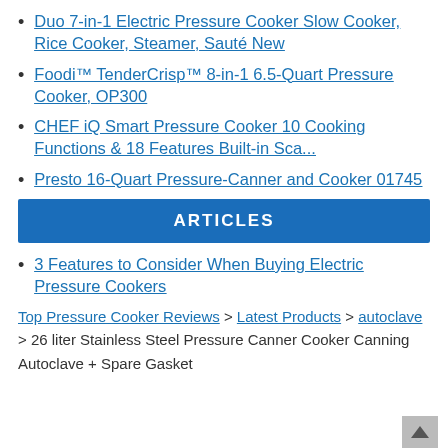Duo 7-in-1 Electric Pressure Cooker Slow Cooker, Rice Cooker, Steamer, Sauté New
Foodi™ TenderCrisp™ 8-in-1 6.5-Quart Pressure Cooker, OP300
CHEF iQ Smart Pressure Cooker 10 Cooking Functions & 18 Features Built-in Sca...
Presto 16-Quart Pressure-Canner and Cooker 01745
ARTICLES
3 Features to Consider When Buying Electric Pressure Cookers
Top Pressure Cooker Reviews > Latest Products > autoclave > 26 liter Stainless Steel Pressure Canner Cooker Canning Autoclave + Spare Gasket